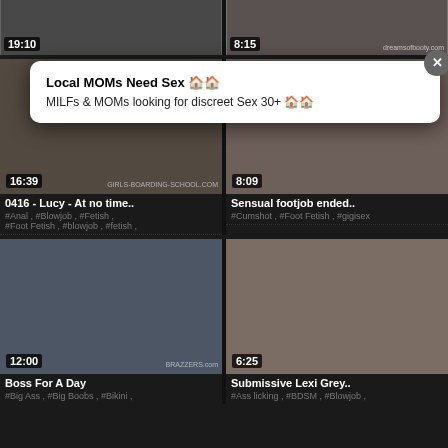[Figure (screenshot): Video thumbnail top left with duration 19:10]
[Figure (screenshot): Video thumbnail top right with duration 8:15 and watermark dreamsofbooty.com]
[Figure (screenshot): Ad overlay: Local MOMs Need Sex. MILFs & MOMs looking for discreet Sex 30+]
[Figure (screenshot): Video thumbnail middle left, duration 16:39, watermark girls-boarding-school.com. Title: 0416 - Lucy - At no time.. Tags: #Anal, #Blowjob, #Fetish, #Foot Fetish, #blowjob, #fetish]
[Figure (screenshot): Video thumbnail middle right, duration 8:09. Title: Sensual footjob ended.. Tags: #Cumshot, #Foot Fetish, #gigisex]
[Figure (screenshot): Video thumbnail bottom left, duration 12:00, watermark BRAZZERS.com. Title: Boss For A Day. Tags: #Big Ass, #Big Boobs, #Bikini]
[Figure (screenshot): Video thumbnail bottom right, duration 6:25. Title: Submissive Lexi Grey.. Tags: #Ass licking, #BDSM, #Blowjob]